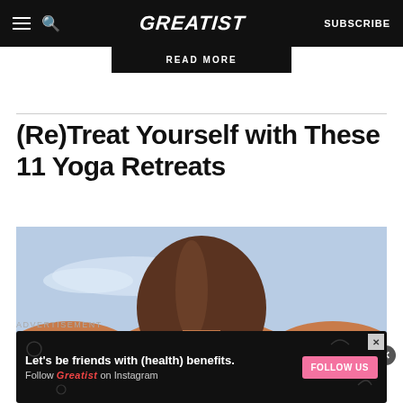GREATIST | SUBSCRIBE
READ MORE
(Re)Treat Yourself with These 11 Yoga Retreats
[Figure (photo): A woman seen from behind with brown hair, wearing a black yoga top with straps, against a light blue sky background]
ADVERTISEMENT
Let's be friends with (health) benefits. Follow GREATIST on Instagram